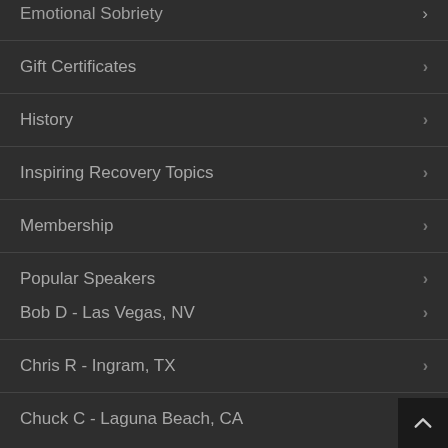Emotional Sobriety
Gift Certificates
History
Inspiring Recovery Topics
Membership
Popular Speakers
Bob D - Las Vegas, NV
Chris R - Ingram, TX
Chuck C - Laguna Beach, CA